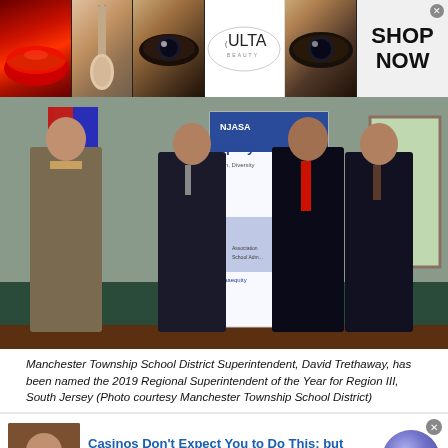[Figure (photo): ULTA Beauty advertisement banner showing makeup images (red lips, makeup brush, eye with dark makeup, ULTA logo, model eye, SHOP NOW text)]
[Figure (photo): Group photo of four men in suits standing indoors in front of a NJASA Equity banner and NJ logo sign. Manchester Township School District event.]
Manchester Township School District Superintendent, David Trethaway, has been named the 2019 Regional Superintendent of the Year for Region III, South Jersey (Photo courtesy Manchester Township School District)
[Figure (photo): Advertisement: Casinos Don't Expect You to Do This; but — n/a — daily-winners.com, with a man photo and purple arrow circle button]